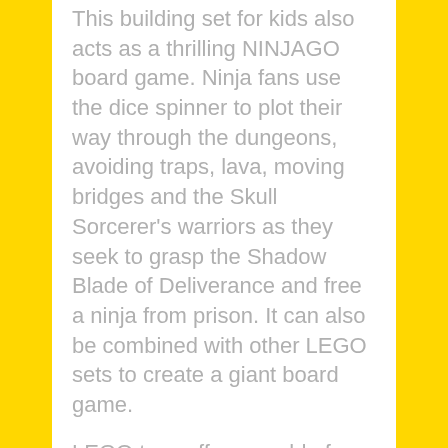This building set for kids also acts as a thrilling NINJAGO board game. Ninja fans use the dice spinner to plot their way through the dungeons, avoiding traps, lava, moving bridges and the Skull Sorcerer's warriors as they seek to grasp the Shadow Blade of Deliverance and free a ninja from prison. It can also be combined with other LEGO sets to create a giant board game.
LEGO toys offer a world of creative fun.
LEGO NINJAGO building toys for kids provide an escape to a fantasy world of non-stop action where they can fight with their ninja heroes against the forces of evil. NINJAGO fans will love indulging in role play with ninja weapons, buildable figures, cars, dragons and much more.
LEGO® board game and dungeons